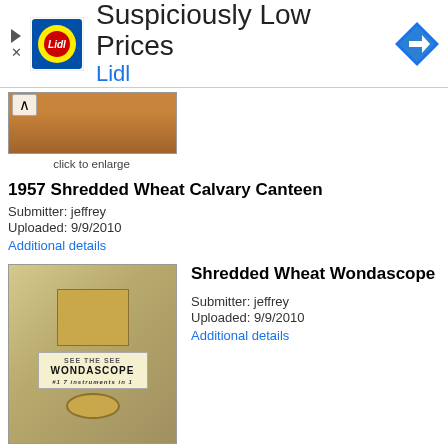[Figure (screenshot): Lidl advertisement banner with logo showing 'Suspiciously Low Prices' and 'Lidl' text in blue, with a navigation icon on the right]
[Figure (photo): Partial photo of a brown wooden or earthenware object - cropped view, top portion only visible]
click to enlarge
1957 Shredded Wheat Calvary Canteen
Submitter: jeffrey
Uploaded: 9/9/2010
Additional details
[Figure (photo): Photo of a Shredded Wheat Wondascope toy, showing a box and compass-like device with Wondascope label]
Shredded Wheat Wondascope
Submitter: jeffrey
Uploaded: 9/9/2010
Additional details